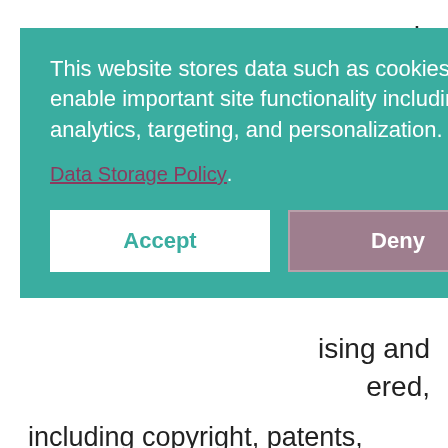and by you ng The
[Figure (screenshot): Cookie consent overlay with teal background. Text reads: 'This website stores data such as cookies to enable important site functionality including analytics, targeting, and personalization.' Link: 'Data Storage Policy'. Two buttons: 'Accept' (white) and 'Deny' (mauve/grey).]
ising and ered, including copyright, patents, trademarks, website marks, trade names, registered designs and any applications for the protection or registration of these rights.
'reasonable endeavours' means all the steps which a prudent and competent organisation would take to achieve an outcome as if the